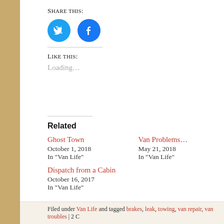Share this:
[Figure (illustration): Two circular social sharing buttons: Twitter (blue, bird icon) and Facebook (blue, f icon)]
Like this:
Loading...
Related
Ghost Town
October 1, 2018
In "Van Life"
Van Problems
May 21, 2018
In "Van Life"
Dispatch from a Cabin
October 16, 2017
In "Van Life"
Filed under Van Life and tagged brakes, leak, towing, van repair, van troubles | 2 C...